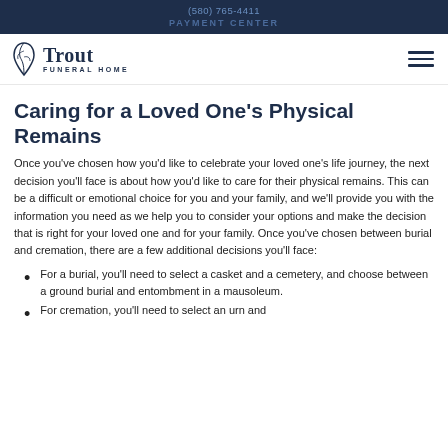(580) 765-4411
PAYMENT CENTER
[Figure (logo): Trout Funeral Home logo with leaf/branch icon]
Caring for a Loved One's Physical Remains
Once you've chosen how you'd like to celebrate your loved one's life journey, the next decision you'll face is about how you'd like to care for their physical remains. This can be a difficult or emotional choice for you and your family, and we'll provide you with the information you need as we help you to consider your options and make the decision that is right for your loved one and for your family. Once you've chosen between burial and cremation, there are a few additional decisions you'll face:
For a burial, you'll need to select a casket and a cemetery, and choose between a ground burial and entombment in a mausoleum.
For cremation, you'll need to select an urn and